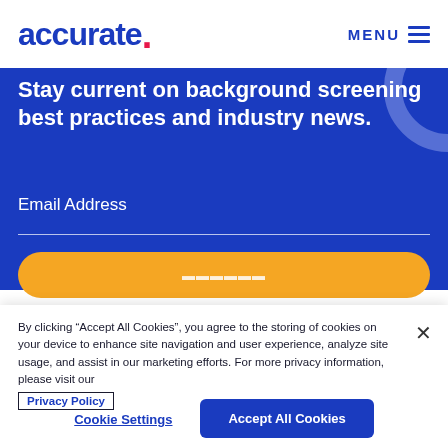accurate. MENU
Stay current on background screening best practices and industry news.
Email Address
By clicking "Accept All Cookies", you agree to the storing of cookies on your device to enhance site navigation and user experience, analyze site usage, and assist in our marketing efforts. For more privacy information, please visit our Privacy Policy
Cookie Settings
Accept All Cookies